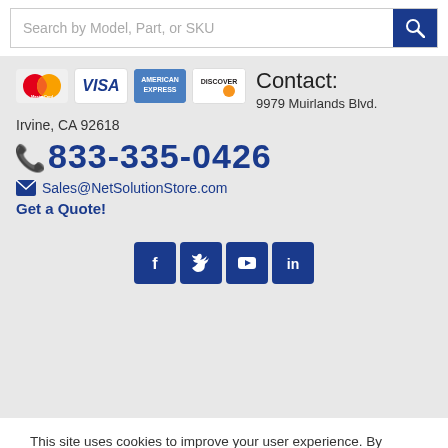[Figure (screenshot): Search bar with placeholder text 'Search by Model, Part, or SKU' and a dark blue search button with magnifying glass icon]
[Figure (infographic): Payment logos: MasterCard, VISA, American Express, Discover]
Contact:
9979 Muirlands Blvd.
Irvine, CA 92618
833-335-0426
Sales@NetSolutionStore.com
Get a Quote!
[Figure (infographic): Social media icons: Facebook, Twitter, YouTube, LinkedIn]
This site uses cookies to improve your user experience. By continuing to use this site you agree to the use of cookies. View our Privacy Policy to learn more.
Accept